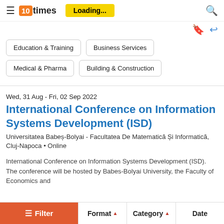10times — Loading...
Education & Training
Business Services
Medical & Pharma
Building & Construction
Wed, 31 Aug - Fri, 02 Sep 2022
International Conference on Information Systems Development (ISD)
Universitatea Babeș-Bolyai - Facultatea De Matematică Și Informatică, Cluj-Napoca • Online
International Conference on Information Systems Development (ISD). The conference will be hosted by Babes-Bolyai University, the Faculty of Economics and
Filter   Format ▲   Category ▲   Date